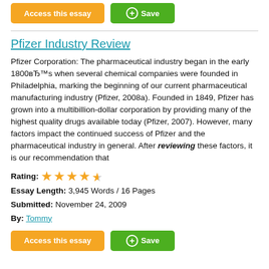[Figure (other): Two buttons at top: orange 'Access this essay' button and green '+Save' button]
Pfizer Industry Review
Pfizer Corporation: The pharmaceutical industry began in the early 1800вЂ™s when several chemical companies were founded in Philadelphia, marking the beginning of our current pharmaceutical manufacturing industry (Pfizer, 2008a). Founded in 1849, Pfizer has grown into a multibillion-dollar corporation by providing many of the highest quality drugs available today (Pfizer, 2007). However, many factors impact the continued success of Pfizer and the pharmaceutical industry in general. After reviewing these factors, it is our recommendation that
Rating: ★★★★½
Essay Length: 3,945 Words / 16 Pages
Submitted: November 24, 2009
By: Tommy
[Figure (other): Two buttons at bottom: orange 'Access this essay' button and green '+Save' button]